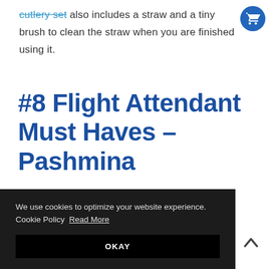cutlery set also includes a straw and a tiny brush to clean the straw when you are finished using it.
#8 Flight Attendant Must Haves – Pashmina
[Figure (photo): Woman wearing black outfit, partially visible, product photo for Pashmina section]
We use cookies to optimize your website experience. Cookie Policy Read More
OKAY